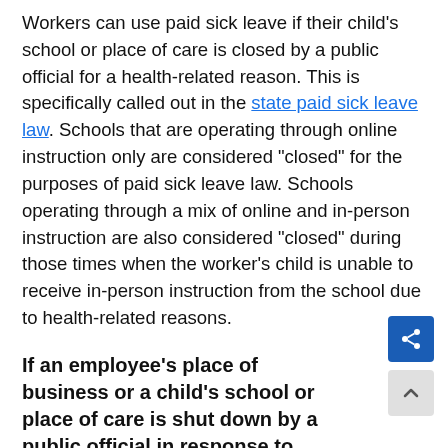Workers can use paid sick leave if their child's school or place of care is closed by a public official for a health-related reason. This is specifically called out in the state paid sick leave law. Schools that are operating through online instruction only are considered "closed" for the purposes of paid sick leave law. Schools operating through a mix of online and in-person instruction are also considered "closed" during those times when the worker's child is unable to receive in-person instruction from the school due to health-related reasons.
If an employee's place of business or a child's school or place of care is shut down by a public official in response to COVID-19...